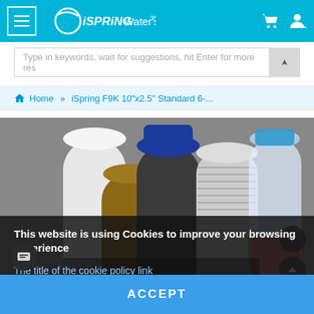iSpring Water's Good™
Type in keywords, wait for suggestions, hit Enter for more res
Home » iSpring F9K 10"x2.5" Standard 6-...
[Figure (photo): Product photo showing multiple water filter cartridges of various colors (white, blue, green, translucent) grouped together]
This website is using Cookies to improve your browsing experience
The title of the cookie policy link
Deny
ACCEPT